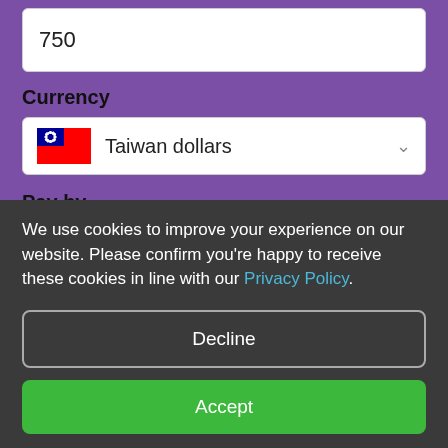750
Currency
Taiwan dollars
Pay by
We use cookies to improve your experience on our website. Please confirm you're happy to receive these cookies in line with our Privacy Policy.
Decline
Accept